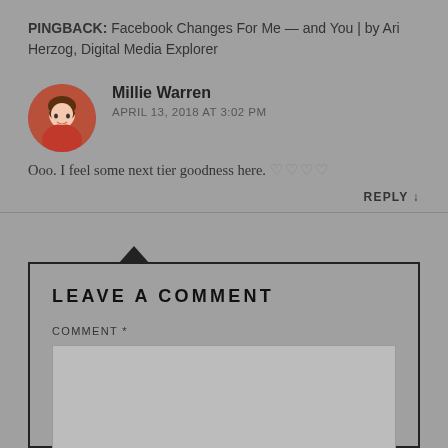PINGBACK: Facebook Changes For Me — and You | by Ari Herzog, Digital Media Explorer
Millie Warren
APRIL 13, 2018 AT 3:02 PM
Ooo. I feel some next tier goodness here. ♡♡♡♡
REPLY ↓
LEAVE A COMMENT
COMMENT *